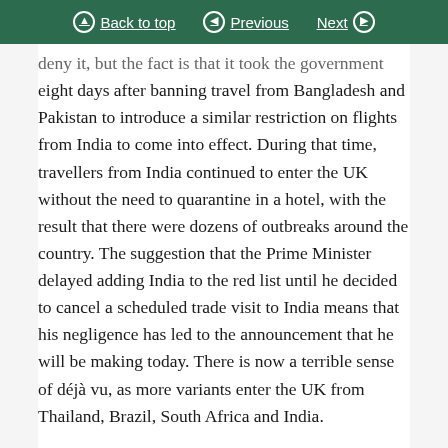Back to top | Previous | Next
deny it, but the fact is that it took the government eight days after banning travel from Bangladesh and Pakistan to introduce a similar restriction on flights from India to come into effect. During that time, travellers from India continued to enter the UK without the need to quarantine in a hotel, with the result that there were dozens of outbreaks around the country. The suggestion that the Prime Minister delayed adding India to the red list until he decided to cancel a scheduled trade visit to India means that his negligence has led to the announcement that he will be making today. There is now a terrible sense of déjà vu, as more variants enter the UK from Thailand, Brazil, South Africa and India.
The confusion around the ambiguity of the amber